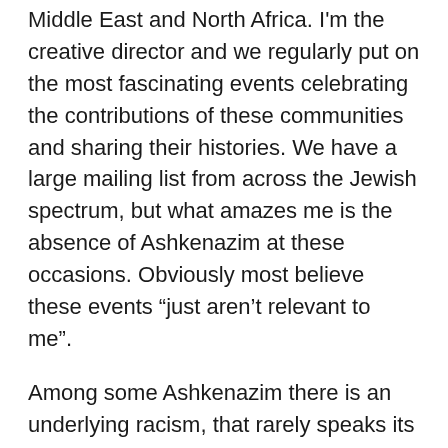Middle East and North Africa. I'm the creative director and we regularly put on the most fascinating events celebrating the contributions of these communities and sharing their histories. We have a large mailing list from across the Jewish spectrum, but what amazes me is the absence of Ashkenazim at these occasions. Obviously most believe these events “just aren’t relevant to me”.
Among some Ashkenazim there is an underlying racism, that rarely speaks its name, but generally translates as irritation with “Israelis”. This is the code word in the UK for the Sephardim (and probably in America too – I remember Jackie Mason joking about his visit